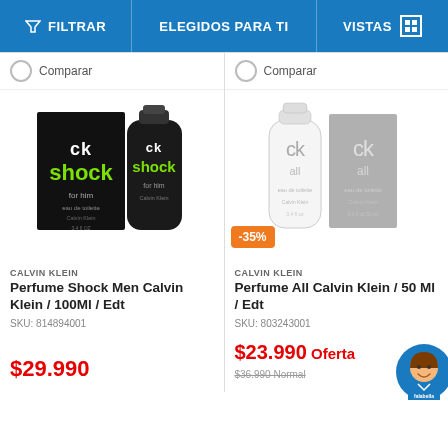FILTRAR | ELEGIDOS PARA TI | VISTAS
Comparar
[Figure (photo): CK Shock for Men Calvin Klein perfume bottle and box, black with green text]
CALVIN KLEIN
Perfume Shock Men Calvin Klein / 100Ml / Edt
SKU: 814894001
$29.990
Comparar
[Figure (photo): CK All Calvin Klein perfume bottle and box, white/silver, with -35% discount badge]
CALVIN KLEIN
Perfume All Calvin Klein / 50 Ml / Edt
SKU: 803243001
$23.990 Oferta
$36.990 Normal